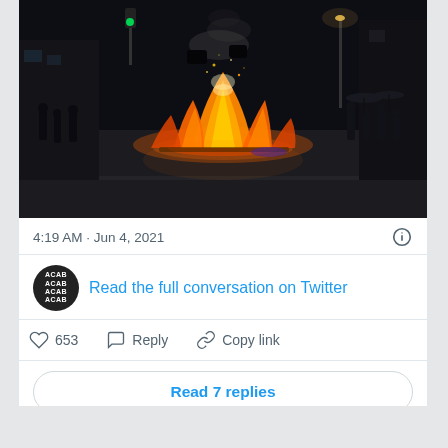[Figure (photo): Nighttime street scene with a large fire burning on the road surface, people visible on both sides of the street, urban setting with buildings and street lights in background.]
4:19 AM · Jun 4, 2021
Read the full conversation on Twitter
653   Reply   Copy link
Read 7 replies